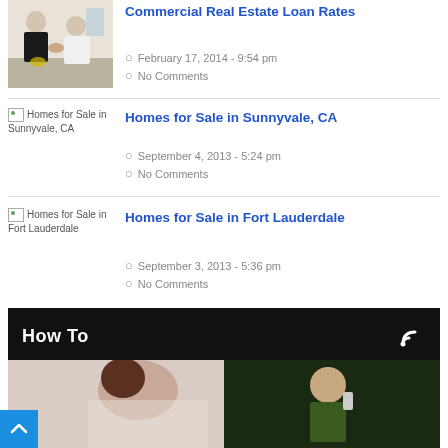[Figure (photo): Two men in business attire shaking hands in an office setting]
Commercial Real Estate Loan Rates
February 17, 2014 - 9:54 pm
No Comments
[Figure (photo): Broken image placeholder for Homes for Sale in Sunnyvale, CA]
Homes for Sale in Sunnyvale, CA
September 4, 2013 - 5:24 pm
No Comments
[Figure (photo): Broken image placeholder for Homes for Sale in Fort Lauderdale]
Homes for Sale in Fort Lauderdale
September 3, 2013 - 5:36 pm
No Comments
How To
[Figure (photo): Woman lying down and man with phone in outdoor/indoor setting]